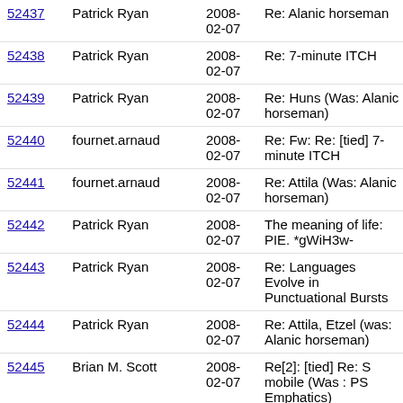| ID | Author | Date | Subject |
| --- | --- | --- | --- |
| 52437 | Patrick Ryan | 2008-02-07 | Re: Alanic horseman |
| 52438 | Patrick Ryan | 2008-02-07 | Re: 7-minute ITCH |
| 52439 | Patrick Ryan | 2008-02-07 | Re: Huns (Was: Alanic horseman) |
| 52440 | fournet.arnaud | 2008-02-07 | Re: Fw: Re: [tied] 7-minute ITCH |
| 52441 | fournet.arnaud | 2008-02-07 | Re: Attila (Was: Alanic horseman) |
| 52442 | Patrick Ryan | 2008-02-07 | The meaning of life: PIE. *gWiH3w- |
| 52443 | Patrick Ryan | 2008-02-07 | Re: Languages Evolve in Punctuational Bursts |
| 52444 | Patrick Ryan | 2008-02-07 | Re: Attila, Etzel (was: Alanic horseman) |
| 52445 | Brian M. Scott | 2008-02-07 | Re[2]: [tied] Re: S mobile (Was : PS Emphatics) |
| 52446 | Patrick Ryan | 2008-02-07 | Re: The meaning of life: PIE. *gWiH3w- |